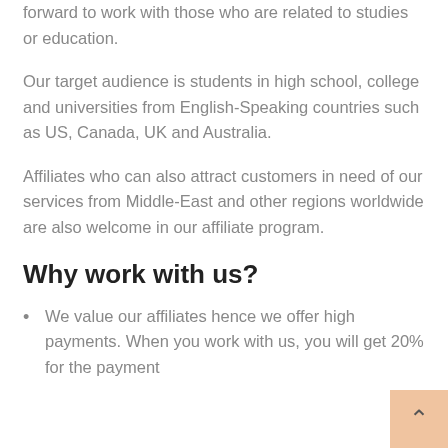forward to work with those who are related to studies or education.
Our target audience is students in high school, college and universities from English-Speaking countries such as US, Canada, UK and Australia.
Affiliates who can also attract customers in need of our services from Middle-East and other regions worldwide are also welcome in our affiliate program.
Why work with us?
We value our affiliates hence we offer high payments. When you work with us, you will get 20% for the payment